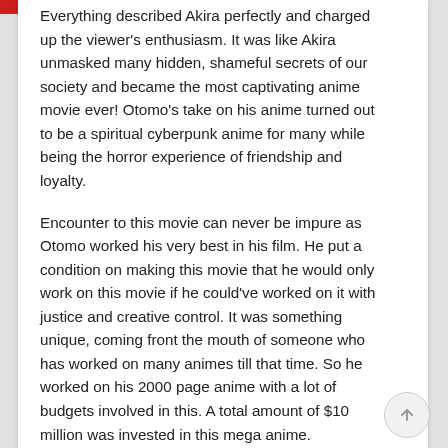Everything described Akira perfectly and charged up the viewer's enthusiasm. It was like Akira unmasked many hidden, shameful secrets of our society and became the most captivating anime movie ever! Otomo's take on his anime turned out to be a spiritual cyberpunk anime for many while being the horror experience of friendship and loyalty.
Encounter to this movie can never be impure as Otomo worked his very best in his film. He put a condition on making this movie that he would only work on this movie if he could've worked on it with justice and creative control. It was something unique, coming front the mouth of someone who has worked on many animes till that time. So he worked on his 2000 page anime with a lot of budgets involved in this. A total amount of $10 million was invested in this mega anime.